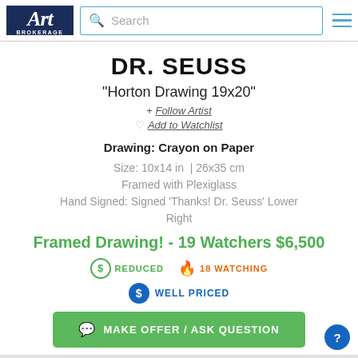Art Brokerage | Search
DR. SEUSS
"Horton Drawing 19x20"
+ Follow Artist
♡ Add to Watchlist
Drawing: Crayon on Paper
Size: 10x14 in  |  26x35 cm
Framed with Plexiglass
Hand Signed: Signed 'Thanks! Dr. Seuss' Lower Right
Framed Drawing! - 19 Watchers $6,500
$ REDUCED   🔥 18 WATCHING
$ WELL PRICED
MAKE OFFER / ASK QUESTION